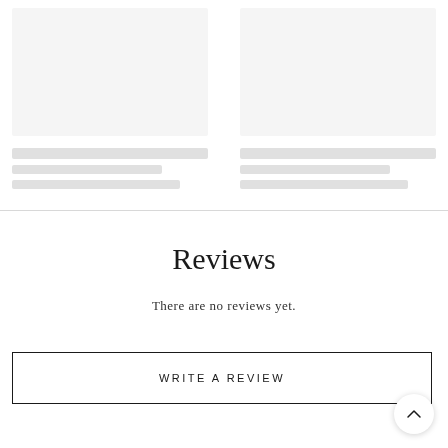[Figure (other): Two placeholder/skeleton product cards side by side, each with a gray rectangle image area and skeleton loading bars below for title and description text]
Reviews
There are no reviews yet.
WRITE A REVIEW